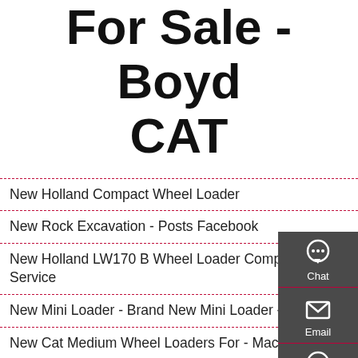For Sale - Boyd CAT
New Holland Compact Wheel Loader
New Rock Excavation - Posts Facebook
New Holland LW170 B Wheel Loader Complete Service
New Mini Loader - Brand New Mini Loader - For Sale
New Cat Medium Wheel Loaders For - MacAllister
New 930M Ag Handler Small Wheel Loader For Sale In
New Holland Kobelco Excavadoras En Venta - Usados Y
New R2900G Underground Mining Loader For Sale -